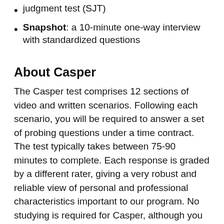judgment test (SJT)
Snapshot: a 10-minute one-way interview with standardized questions
About Casper
The Casper test comprises 12 sections of video and written scenarios. Following each scenario, you will be required to answer a set of probing questions under a time contract. The test typically takes between 75-90 minutes to complete. Each response is graded by a different rater, giving a very robust and reliable view of personal and professional characteristics important to our program. No studying is required for Casper, although you may want to familiarize yourself with the test structure at TakeAltus.com, and ensure you have a quiet environment to take the test. We strongly urge you to take advantage of the 12-section practice test